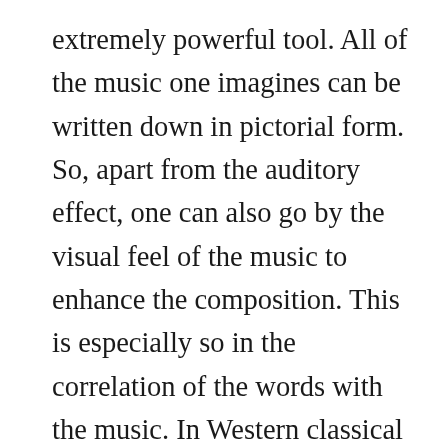extremely powerful tool. All of the music one imagines can be written down in pictorial form. So, apart from the auditory effect, one can also go by the visual feel of the music to enhance the composition. This is especially so in the correlation of the words with the music. In Western classical theory, this correlation of music and words is called 'painting a picture with music'. Observe in the example below (one note for every syllable) how the notes of the music move up or down in pitch, correlating with the words. For those who understand this musical notation, notice that when 'he walked', the music also 'walks' and when 'she runs', the